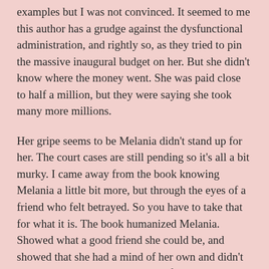examples but I was not convinced. It seemed to me this author has a grudge against the dysfunctional administration, and rightly so, as they tried to pin the massive inaugural budget on her. But she didn't know where the money went. She was paid close to half a million, but they were saying she took many more millions.
Her gripe seems to be Melania didn't stand up for her. The court cases are still pending so it's all a bit murky. I came away from the book knowing Melania a little bit more, but through the eyes of a friend who felt betrayed. So you have to take that for what it is. The book humanized Melania. Showed what a good friend she could be, and showed that she had a mind of her own and didn't really care what people thought of her. Which is good because so many people (including Ivanka) seem to hate her.